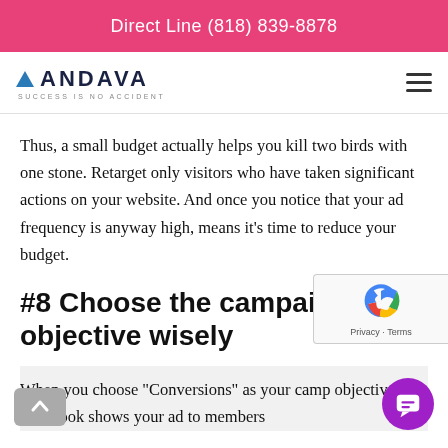Direct Line (818) 839-8878
[Figure (logo): Andava logo with triangle icon and tagline 'SUCCESS IS NO ACCIDENT']
Thus, a small budget actually helps you kill two birds with one stone. Retarget only visitors who have taken significant actions on your website. And once you notice that your ad frequency is anyway high, means it’s time to reduce your budget.
#8 Choose the campaign objective wisely
When you choose “Conversions” as your camp objective, Facebook shows your ad to members